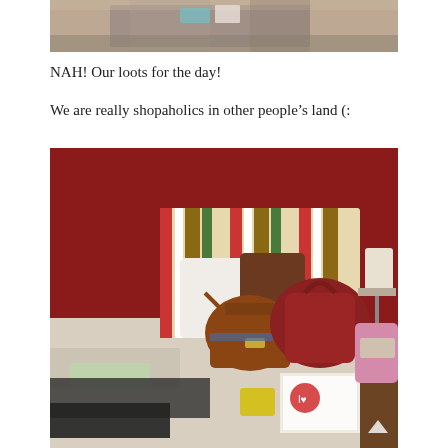[Figure (photo): Top portion of a photo showing two people holding shopping bags, cropped at torso level, standing on concrete ground.]
NAH! Our loots for the day!
We are really shopaholics in other people’s land (:
[Figure (photo): Hotel room with red walls and a striped headboard. The bed is covered with shopping items including clothing, bags (a brown structured bag and a large red bag), and various other purchases. A pink bedside table with a lamp and phone is visible on the right.]